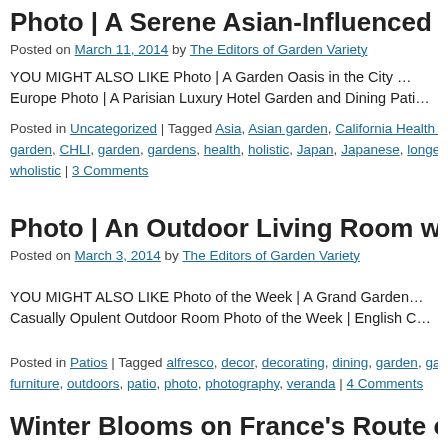Photo | A Serene Asian-Influenced Garde...
Posted on March 11, 2014 by The Editors of Garden Variety
YOU MIGHT ALSO LIKE Photo | A Garden Oasis in the City ... Europe Photo | A Parisian Luxury Hotel Garden and Dining Pati...
Posted in Uncategorized | Tagged Asia, Asian garden, California Health & Lo... garden, CHLI, garden, gardens, health, holistic, Japan, Japanese, longevity, ... wholistic | 3 Comments
Photo | An Outdoor Living Room with Inte...
Posted on March 3, 2014 by The Editors of Garden Variety
YOU MIGHT ALSO LIKE Photo of the Week | A Grand Garden... Casually Opulent Outdoor Room Photo of the Week | English C...
Posted in Patios | Tagged alfresco, decor, decorating, dining, garden, garden... furniture, outdoors, patio, photo, photography, veranda | 4 Comments
Winter Blooms on France's Route of G...